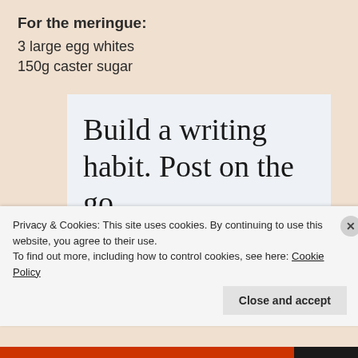For the meringue:
3 large egg whites
150g caster sugar
[Figure (screenshot): WordPress app advertisement showing 'Build a writing habit. Post on the go.' with GET THE APP link and WordPress logo]
Privacy & Cookies: This site uses cookies. By continuing to use this website, you agree to their use.
To find out more, including how to control cookies, see here: Cookie Policy
Close and accept